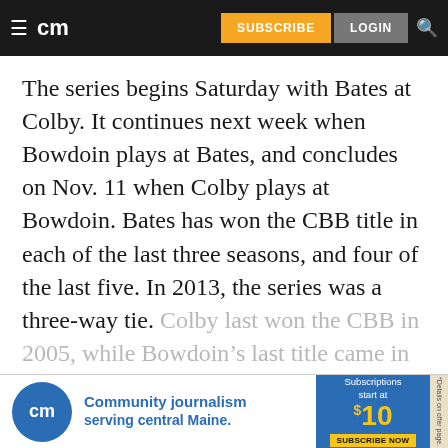cm | SUBSCRIBE | LOGIN
The series begins Saturday with Bates at Colby. It continues next week when Bowdoin plays at Bates, and concludes on Nov. 11 when Colby plays at Bowdoin. Bates has won the CBB title in each of the last three seasons, and four of the last five. In 2013, the series was a three-way tie. Colby last won the CBB in 2005, while Bowdoin’s last title came in 2010.
CONTINUE READING
[Figure (infographic): Central Maine (cm) newspaper advertisement: 'Community journalism serving central Maine. Subscriptions start at $10. SUBSCRIBE NOW.']